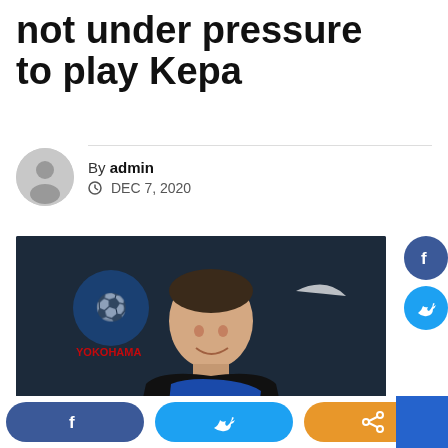not under pressure to play Kepa
By admin
DEC 7, 2020
[Figure (photo): Frank Lampard at a Chelsea press conference, wearing Chelsea kit with Chelsea TV microphone visible, Nike and Yokohama logos in background]
Facebook share button, Twitter share button, share button, blue rectangle